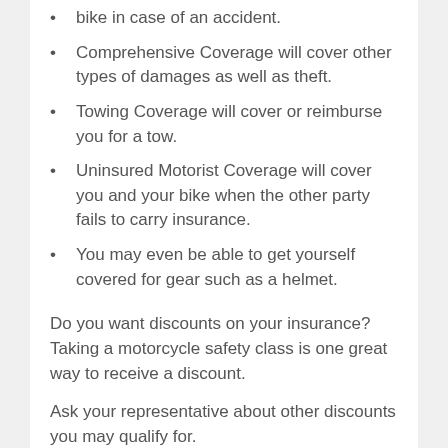bike in case of an accident.
Comprehensive Coverage will cover other types of damages as well as theft.
Towing Coverage will cover or reimburse you for a tow.
Uninsured Motorist Coverage will cover you and your bike when the other party fails to carry insurance.
You may even be able to get yourself covered for gear such as a helmet.
Do you want discounts on your insurance? Taking a motorcycle safety class is one great way to receive a discount.
Ask your representative about other discounts you may qualify for.
Ride risk free today!
Great Links For The Chula